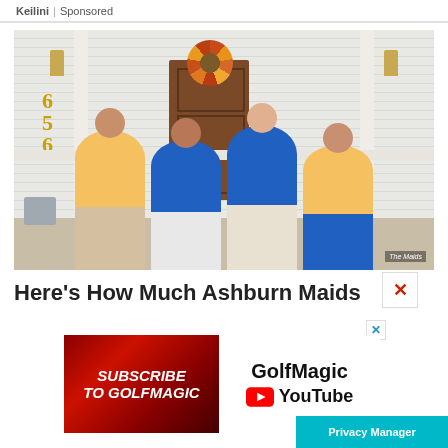Keilini | Sponsored
[Figure (photo): Four women in cleaning service uniforms (yellow and blue polo shirts) standing in front of a house entrance with a floral wreath on the door. They carry cleaning buckets and supplies. Logo 'The Maids' visible.]
Here's How Much Ashburn Maids Charge
[Figure (screenshot): Advertisement banner for GolfMagic YouTube channel. Red background on left with bold italic text 'SUBSCRIBE TO GOLFMAGIC', white background on right with 'GolfMagic' text and YouTube logo.]